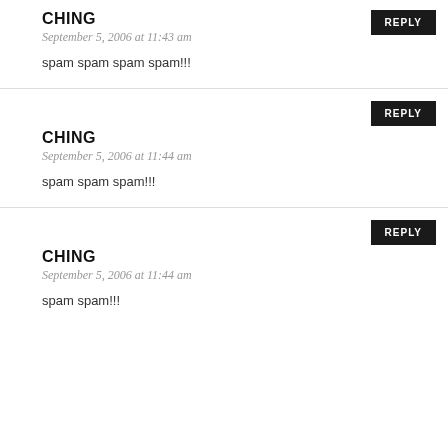CHING
September 5, 2006 at 11:43 am
spam spam spam spam!!!
CHING
September 5, 2006 at 11:44 am
spam spam spam!!!
CHING
September 5, 2006 at 11:44 am
spam spam!!!